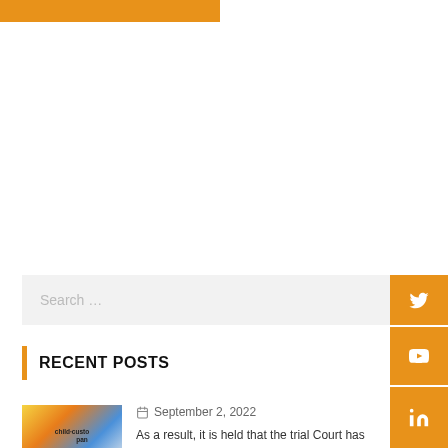[Figure (other): Orange banner bar at top left]
[Figure (other): Search bar with orange Twitter icon button on right sidebar]
[Figure (other): Orange YouTube social media button on right sidebar]
[Figure (other): Orange Facebook social media button on right sidebar]
[Figure (other): Orange LinkedIn social media button on right sidebar]
RECENT POSTS
September 2, 2022
As a result, it is held that the trial Court has not committed any error in rejecting the application under Order 7 Rule 11 of CPC filed by the non-applicants: HIGH COURT OF MADHYA PRADESH AT INDORE
September 2, 2022
It has been found that the property in question has been